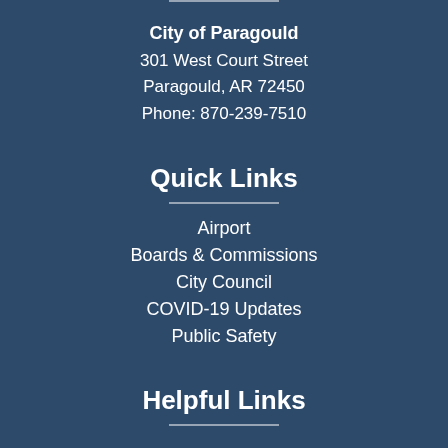City of Paragould
301 West Court Street
Paragould, AR 72450
Phone: 870-239-7510
Quick Links
Airport
Boards & Commissions
City Council
COVID-19 Updates
Public Safety
Helpful Links